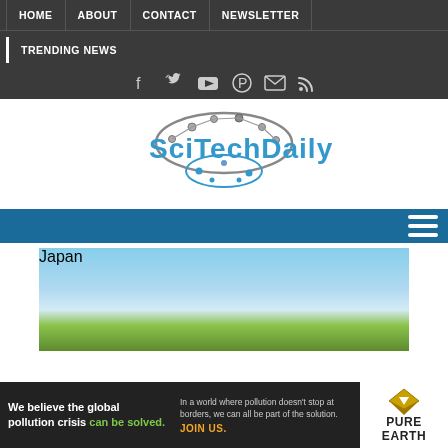HOME | ABOUT | CONTACT | NEWSLETTER | TRENDING NEWS
[Figure (logo): SciTechDaily website logo with neural network brain graphic and blue text]
[Figure (screenshot): Navigation menu bar with teal/blue background and hamburger menu icon on right]
[Figure (photo): Japan travel banner showing Mount Fuji, blue sky, and a red pagoda temple with the word Japan in large purple italic text]
[Figure (infographic): Pure Earth advertisement banner: We believe the global pollution crisis can be solved. In a world where pollution doesn't stop at borders, we can all be part of the solution. JOIN US. Pure Earth logo with diamond/arrow icon.]